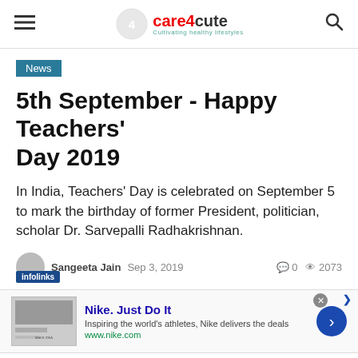care4cute — Cultivating healthy lifestyles
News
5th September - Happy Teachers' Day 2019
In India, Teachers' Day is celebrated on September 5 to mark the birthday of former President, politician, scholar Dr. Sarvepalli Radhakrishnan.
Sangeeta Jain  Sep 3, 2019   0  2073
[Figure (screenshot): Nike advertisement banner: 'Nike. Just Do It' — Inspiring the world's athletes, Nike delivers the deals. www.nike.com]